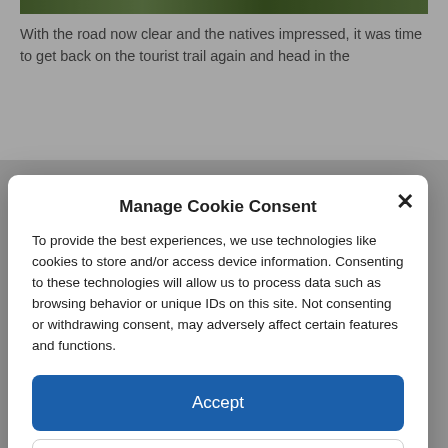[Figure (photo): Green landscape/nature photo strip at top of article page]
With the road now clear and the natives impressed, it was time to get back on the tourist trail again and head in the
Manage Cookie Consent
To provide the best experiences, we use technologies like cookies to store and/or access device information. Consenting to these technologies will allow us to process data such as browsing behavior or unique IDs on this site. Not consenting or withdrawing consent, may adversely affect certain features and functions.
Accept
Deny
View preferences
Cookie Policy